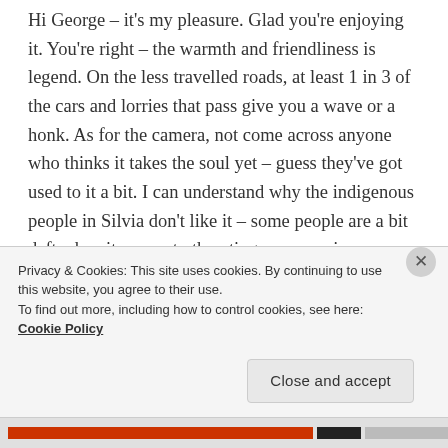Hi George – it's my pleasure. Glad you're enjoying it. You're right – the warmth and friendliness is legend. On the less travelled roads, at least 1 in 3 of the cars and lorries that pass give you a wave or a honk. As for the camera, not come across anyone who thinks it takes the soul yet – guess they've got used to it a bit. I can understand why the indigenous people in Silvia don't like it – some people are a bit daft when it comes to thrusting a camera in someone's face. I hope that I've got sufficient clothes with me for the cold. That's one of the reasons why I'm carrying so much luggage –
Privacy & Cookies: This site uses cookies. By continuing to use this website, you agree to their use.
To find out more, including how to control cookies, see here: Cookie Policy
Close and accept